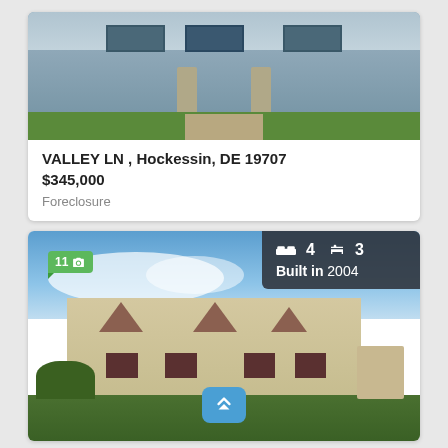[Figure (photo): Exterior photo of a gray/blue house with stone pillars, green lawn, and paved path.]
VALLEY LN , Hockessin, DE 19707
$345,000
Foreclosure
[Figure (photo): Exterior photo of a large colonial-style house with dormer windows, red shutters, built in 2004. Badge shows 11 photos, 4 beds, 3 baths, built in 2004.]